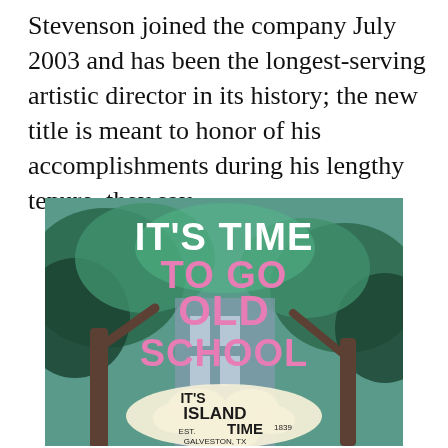Stevenson joined the company July 2003 and has been the longest-serving artistic director in its history; the new title is meant to honor of his accomplishments during his lengthy tenure, they say.
[Figure (photo): Promotional image with trees in background and large pink bold text reading 'IT'S TIME TO GO OLD SCHOOL' and a badge reading 'IT'S ISLAND TIME EST. 1839 GALVESTON, TX']